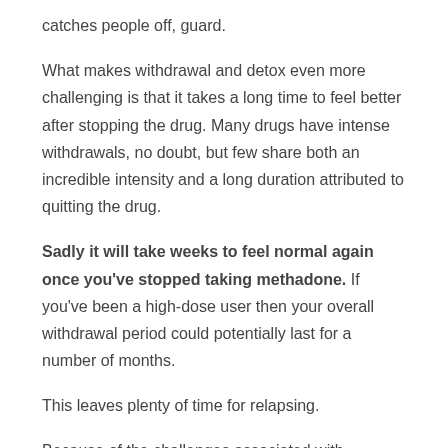catches people off, guard.
What makes withdrawal and detox even more challenging is that it takes a long time to feel better after stopping the drug. Many drugs have intense withdrawals, no doubt, but few share both an incredible intensity and a long duration attributed to quitting the drug.
Sadly it will take weeks to feel normal again once you've stopped taking methadone. If you've been a high-dose user then your overall withdrawal period could potentially last for a number of months.
This leaves plenty of time for relapsing.
Because of the challenges associated with detoxing it's not recommended to undertake this on your own.